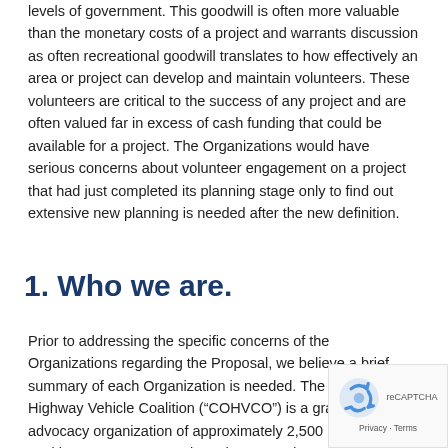levels of government. This goodwill is often more valuable than the monetary costs of a project and warrants discussion as often recreational goodwill translates to how effectively an area or project can develop and maintain volunteers. These volunteers are critical to the success of any project and are often valued far in excess of cash funding that could be available for a project. The Organizations would have serious concerns about volunteer engagement on a project that had just completed its planning stage only to find out extensive new planning is needed after the new definition.
1. Who we are.
Prior to addressing the specific concerns of the Organizations regarding the Proposal, we believe a brief summary of each Organization is needed. The Colorado Off Highway Vehicle Coalition (“COHVCO”) is a grassroots advocacy organization of approximately 2,500 members seeking to represent, assist, educate, and empower all OHV